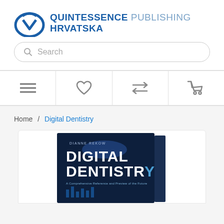[Figure (logo): Quintessence Publishing Hrvatska logo with circular Q mark icon in blue]
Search
[Figure (screenshot): Navigation bar with hamburger menu, heart/wishlist icon, repeat/compare icon, and shopping cart icon]
Home / Digital Dentistry
[Figure (photo): Book cover of 'Digital Dentistry' by Dianne Rekow, dark blue cover with title text and subtitle 'A Comprehensive Reference and Preview of the Future']